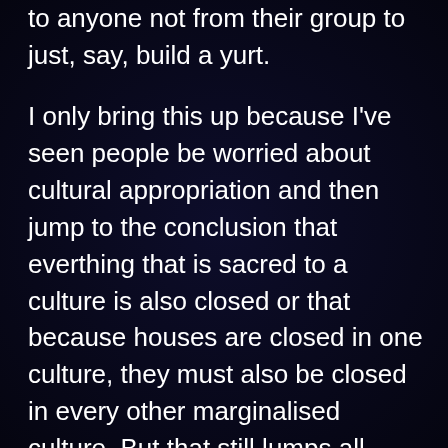to anyone not from their group to just, say, build a yurt.
I only bring this up because I've seen people be worried about cultural appropriation and then jump to the conclusion that everthing that is sacred to a culture is also closed or that because houses are closed in one culture, they must also be closed in every other marginalised culture. But that still lumps all cultures together instead of affording them the respect of context and nuance. The most harm this probably does is when people refuse to learn languages for fear of appropriation, thereby unintentionally propping up cultural hierarchies where everyone in the world has to learn English, French and the like while the rest are treated as less